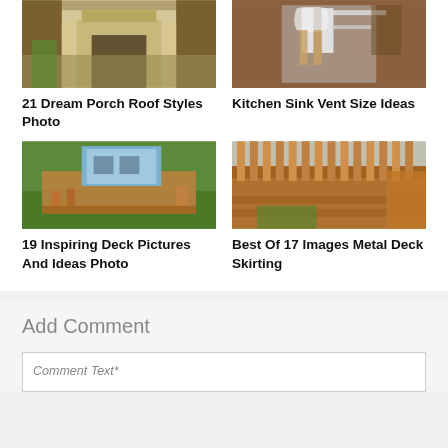[Figure (photo): Photo of a house porch with columns and vegetation]
[Figure (photo): Photo of kitchen sink plumbing pipes under cabinet]
21 Dream Porch Roof Styles Photo
Kitchen Sink Vent Size Ideas
[Figure (photo): Photo of a wooden deck with small blue shed and outdoor furniture]
[Figure (photo): Photo of a wooden deck with railing and ramp]
19 Inspiring Deck Pictures And Ideas Photo
Best Of 17 Images Metal Deck Skirting
Add Comment
Comment Text*